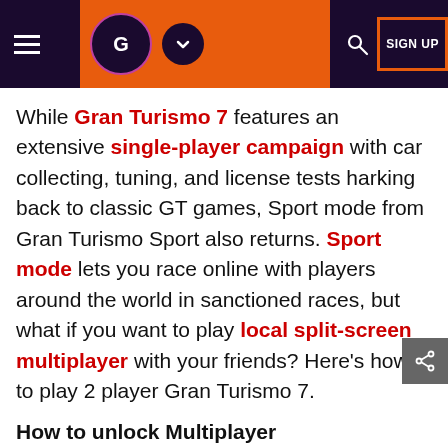GamesRadar+ header with logo, search, and SIGN UP
While Gran Turismo 7 features an extensive single-player campaign with car collecting, tuning, and license tests harking back to classic GT games, Sport mode from Gran Turismo Sport also returns. Sport mode lets you race online with players around the world in sanctioned races, but what if you want to play local split-screen multiplayer with your friends? Here's how to play 2 player Gran Turismo 7.
How to unlock Multiplayer
Advertisement